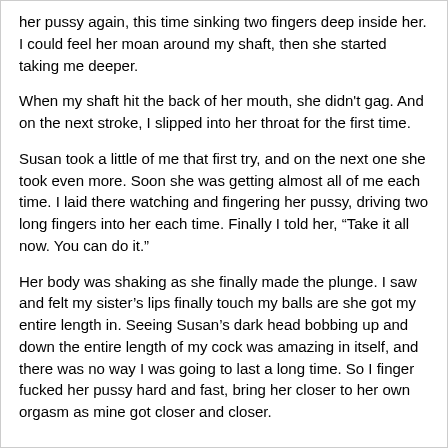her pussy again, this time sinking two fingers deep inside her. I could feel her moan around my shaft, then she started taking me deeper.
When my shaft hit the back of her mouth, she didn't gag. And on the next stroke, I slipped into her throat for the first time.
Susan took a little of me that first try, and on the next one she took even more. Soon she was getting almost all of me each time. I laid there watching and fingering her pussy, driving two long fingers into her each time. Finally I told her, “Take it all now. You can do it.”
Her body was shaking as she finally made the plunge. I saw and felt my sister’s lips finally touch my balls are she got my entire length in. Seeing Susan’s dark head bobbing up and down the entire length of my cock was amazing in itself, and there was no way I was going to last a long time. So I finger fucked her pussy hard and fast, bring her closer to her own orgasm as mine got closer and closer.